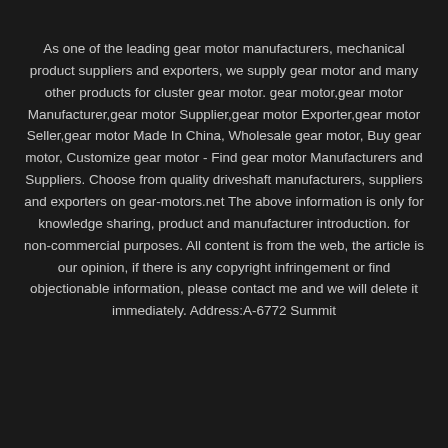As one of the leading gear motor manufacturers, mechanical product suppliers and exporters, we supply gear motor and many other products for cluster gear motor. gear motor,gear motor Manufacturer,gear motor Supplier,gear motor Exporter,gear motor Seller,gear motor Made In China, Wholesale gear motor, Buy gear motor, Customize gear motor - Find gear motor Manufacturers and Suppliers. Choose from quality driveshaft manufacturers, suppliers and exporters on gear-motors.net The above information is only for knowledge sharing, product and manufacturer introduction. for non-commercial purposes. All content is from the web, the article is our opinion, if there is any copyright infringement or find objectionable information, please contact me and we will delete it immediately. Address:A-6772 Summit